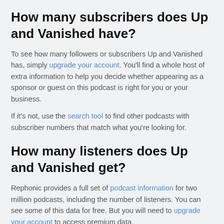How many subscribers does Up and Vanished have?
To see how many followers or subscribers Up and Vanished has, simply upgrade your account. You'll find a whole host of extra information to help you decide whether appearing as a sponsor or guest on this podcast is right for you or your business.
If it's not, use the search tool to find other podcasts with subscriber numbers that match what you're looking for.
How many listeners does Up and Vanished get?
Rephonic provides a full set of podcast information for two million podcasts, including the number of listeners. You can see some of this data for free. But you will need to upgrade your account to access premium data.